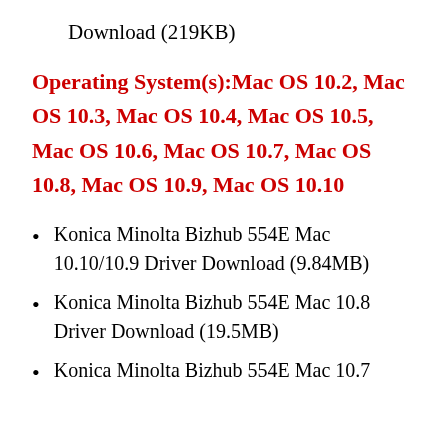Download (219KB)
Operating System(s):Mac OS 10.2, Mac OS 10.3, Mac OS 10.4, Mac OS 10.5, Mac OS 10.6, Mac OS 10.7, Mac OS 10.8, Mac OS 10.9, Mac OS 10.10
Konica Minolta Bizhub 554E Mac 10.10/10.9 Driver Download (9.84MB)
Konica Minolta Bizhub 554E Mac 10.8 Driver Download (19.5MB)
Konica Minolta Bizhub 554E Mac 10.7